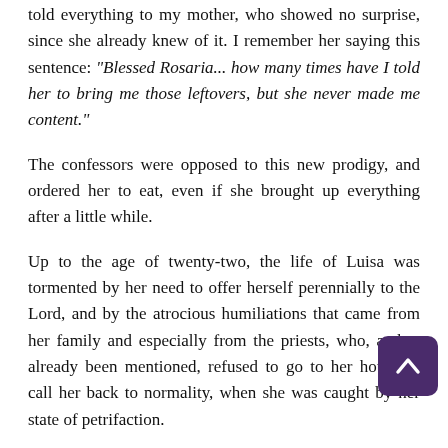told everything to my mother, who showed no surprise, since she already knew of it. I remember her saying this sentence: "Blessed Rosaria... how many times have I told her to bring me those leftovers, but she never made me content."
The confessors were opposed to this new prodigy, and ordered her to eat, even if she brought up everything after a little while.
Up to the age of twenty-two, the life of Luisa was tormented by her need to offer herself perennially to the Lord, and by the atrocious humiliations that came from her family and especially from the priests, who, as has already been mentioned, refused to go to her house to call her back to normality, when she was caught by her state of petrifaction.
This entered into the Divine design, which, for Luisa, was a most heavy cross to carry. The need of the priestly authority to give or remove her sufferings constituted the greatest